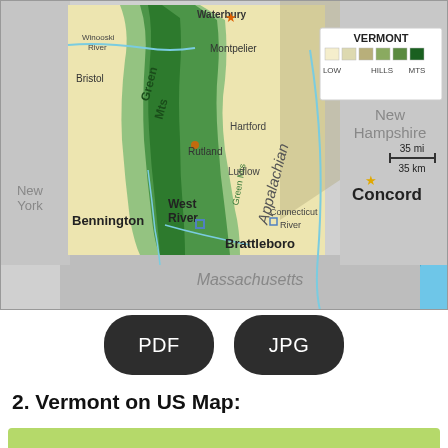[Figure (map): Physical/topographic map of Vermont and surrounding states (New York, New Hampshire, Massachusetts), showing Green Mountains, Appalachian Mountains, rivers (Winooski River, Green River, West River, Connecticut River), cities (Waterbury, Montpelier, Bristol, Rutland, Hartford, Ludlow, West River, Bennington, Brattleboro, Concord), a legend showing elevation (LOW, HILLS, MTS) with color swatches, a scale bar (35 mi / 35 km), and labels for Atlantic Ocean.]
[Figure (other): Two dark rounded rectangle buttons labeled PDF and JPG]
2. Vermont on US Map: